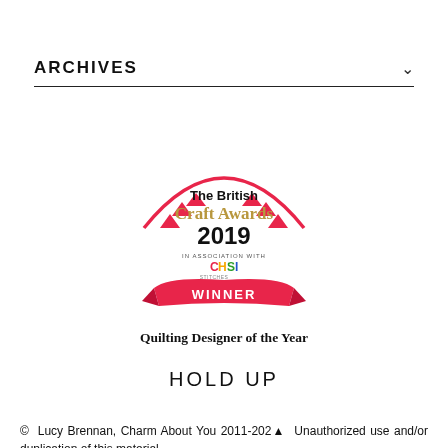ARCHIVES
[Figure (logo): The British Craft Awards 2019 Winner badge - Quilting Designer of the Year, in association with CHSI]
Quilting Designer of the Year
HOLD UP
© Lucy Brennan, Charm About You 2011-2024. Unauthorized use and/or duplication of this material